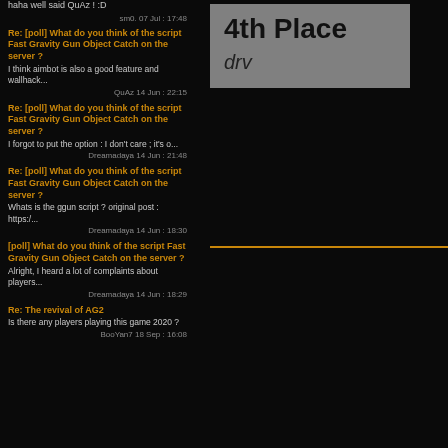haha well said QuAz ! :D
sm0. 07 Jul : 17:48
Re: [poll] What do you think of the script Fast Gravity Gun Object Catch on the server ? I think aimbot is also a good feature and wallhack... QuAz 14 Jun : 22:15
Re: [poll] What do you think of the script Fast Gravity Gun Object Catch on the server ? I forgot to put the option : I don't care ; it's o... Dreamadaya 14 Jun : 21:48
Re: [poll] What do you think of the script Fast Gravity Gun Object Catch on the server ? Whats is the ggun script ? original post : https:/... Dreamadaya 14 Jun : 18:30
[poll] What do you think of the script Fast Gravity Gun Object Catch on the server ? Alright, I heard a lot of complaints about players... Dreamadaya 14 Jun : 18:29
Re: The revival of AG2 Is there any players playing this game 2020 ? BooYan7 18 Sep : 16:08
4th Place
drv